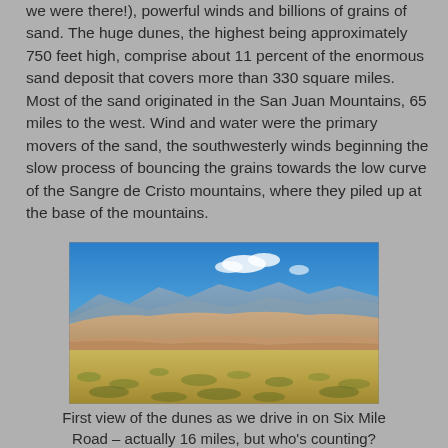we were there!), powerful winds and billions of grains of sand. The huge dunes, the highest being approximately 750 feet high, comprise about 11 percent of the enormous sand deposit that covers more than 330 square miles. Most of the sand originated in the San Juan Mountains, 65 miles to the west. Wind and water were the primary movers of the sand, the southwesterly winds beginning the slow process of bouncing the grains towards the low curve of the Sangre de Cristo mountains, where they piled up at the base of the mountains.
[Figure (photo): Landscape photograph showing first view of the Great Sand Dunes from a distance. In the foreground is a grassland/scrubland with yellow-green vegetation. In the middle ground are the large sand dunes with a pinkish-tan color. In the background are the Sangre de Cristo mountains under a clear blue sky with a few white clouds.]
First view of the dunes as we drive in on Six Mile Road – actually 16 miles, but who's counting?